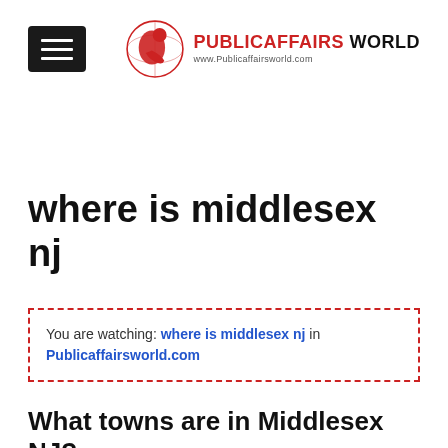[Figure (logo): PublicAffairs World logo with red globe/figure graphic and site name in red and black text, URL shown below]
where is middlesex nj
You are watching: where is middlesex nj in Publicaffairsworld.com
What towns are in Middlesex NJ?